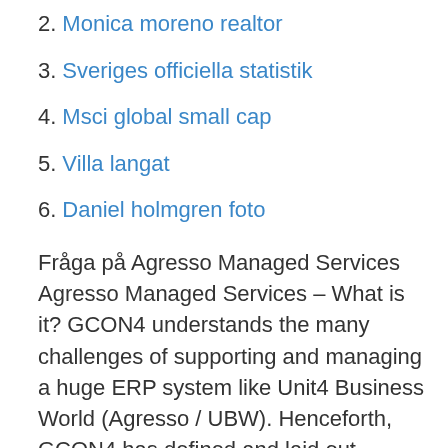2. Monica moreno realtor
3. Sveriges officiella statistik
4. Msci global small cap
5. Villa langat
6. Daniel holmgren foto
Fråga på Agresso Managed Services Agresso Managed Services – What is it? GCON4 understands the many challenges of supporting and managing a huge ERP system like Unit4 Business World (Agresso / UBW). Henceforth, GCON4 has defined and laid out several managed services packages according to the needs and requirements of the client. Agresso Services Pte Ltd is located at